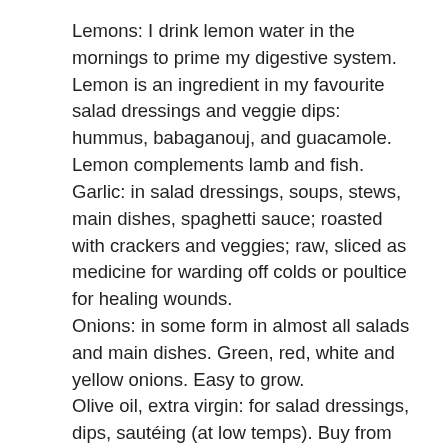Lemons: I drink lemon water in the mornings to prime my digestive system. Lemon is an ingredient in my favourite salad dressings and veggie dips: hummus, babaganouj, and guacamole. Lemon complements lamb and fish.
Garlic: in salad dressings, soups, stews, main dishes, spaghetti sauce; roasted with crackers and veggies; raw, sliced as medicine for warding off colds or poultice for healing wounds.
Onions: in some form in almost all salads and main dishes. Green, red, white and yellow onions. Easy to grow.
Olive oil, extra virgin: for salad dressings, dips, sautéing (at low temps). Buy from reputable company as olive oil is often diluted with cheaper oils. It should harden when refrigerated.
Coconut oil, extra virgin: use for frying, baking oven